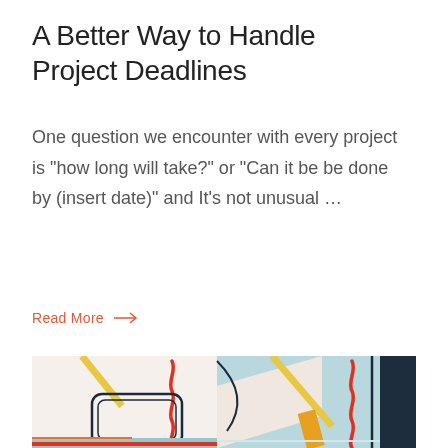A Better Way to Handle Project Deadlines
One question we encounter with every project is "how long will take?" or "Can it be be done by (insert date)" and It's not unusual …
Read More →
[Figure (illustration): Flat-style illustration showing design/project tools including a rounded rectangle device and colorful geometric abstract shapes with red squiggly lines and geometric colored blocks]